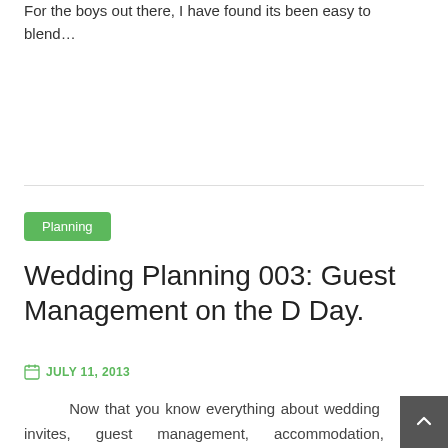For the boys out there, I have found its been easy to blend…
Planning
Wedding Planning 003: Guest Management on the D Day.
JULY 11, 2013
Now that you know everything about wedding invites, guest management, accommodation, conveyance etc. Let us talk about the most important day and the most important job, Gu… Management…